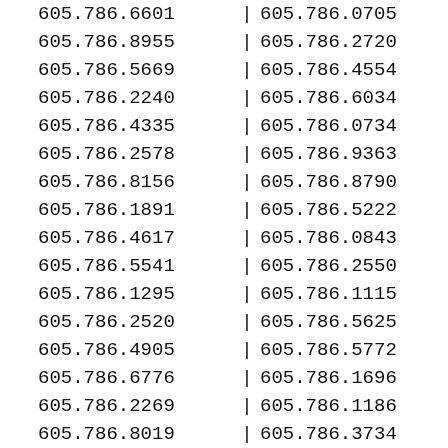| Column1 |  | Column2 |  |
| --- | --- | --- | --- |
| 605.786.6601 | | | 605.786.0705 | | |
| 605.786.8955 | | | 605.786.2720 | | |
| 605.786.5669 | | | 605.786.4554 | | |
| 605.786.2240 | | | 605.786.6034 | | |
| 605.786.4335 | | | 605.786.0734 | | |
| 605.786.2578 | | | 605.786.9363 | | |
| 605.786.8156 | | | 605.786.8790 | | |
| 605.786.1891 | | | 605.786.5222 | | |
| 605.786.4617 | | | 605.786.0843 | | |
| 605.786.5541 | | | 605.786.2550 | | |
| 605.786.1295 | | | 605.786.1115 | | |
| 605.786.2520 | | | 605.786.5625 | | |
| 605.786.4905 | | | 605.786.5772 | | |
| 605.786.6776 | | | 605.786.1696 | | |
| 605.786.2269 | | | 605.786.1186 | | |
| 605.786.8019 | | | 605.786.3734 | | |
| 605.786.7026 | | | 605.786.8134 | | |
| 605.786.3815 | | | 605.786.4861 | | |